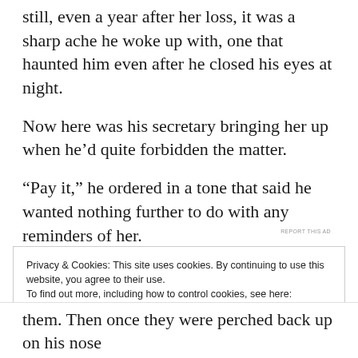still, even a year after her loss, it was a sharp ache he woke up with, one that haunted him even after he closed his eyes at night.
Now here was his secretary bringing her up when he'd quite forbidden the matter.
“Pay it,” he ordered in a tone that said he wanted nothing further to do with any reminders of her.
REPORT THIS AD
Privacy & Cookies: This site uses cookies. By continuing to use this website, you agree to their use.
To find out more, including how to control cookies, see here:
Cookie Policy
Close and accept
them. Then once they were perched back up on his nose